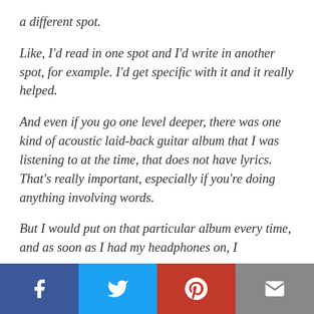a different spot.
Like, I'd read in one spot and I'd write in another spot, for example. I'd get specific with it and it really helped.
And even if you go one level deeper, there was one kind of acoustic laid-back guitar album that I was listening to at the time, that does not have lyrics. That's really important, especially if you're doing anything involving words.
But I would put on that particular album every time, and as soon as I had my headphones on, I
Social share buttons: Facebook, Twitter, Pinterest, Email